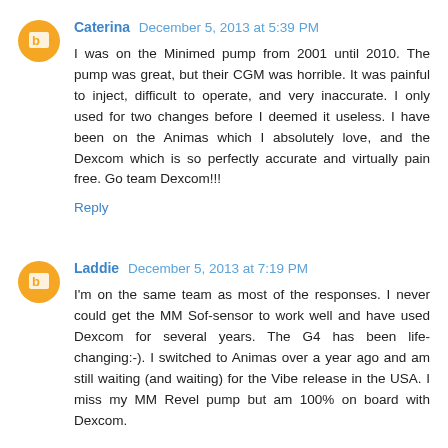Caterina  December 5, 2013 at 5:39 PM
I was on the Minimed pump from 2001 until 2010. The pump was great, but their CGM was horrible. It was painful to inject, difficult to operate, and very inaccurate. I only used for two changes before I deemed it useless. I have been on the Animas which I absolutely love, and the Dexcom which is so perfectly accurate and virtually pain free. Go team Dexcom!!!
Reply
Laddie  December 5, 2013 at 7:19 PM
I'm on the same team as most of the responses. I never could get the MM Sof-sensor to work well and have used Dexcom for several years. The G4 has been life-changing:-). I switched to Animas over a year ago and am still waiting (and waiting) for the Vibe release in the USA. I miss my MM Revel pump but am 100% on board with Dexcom.